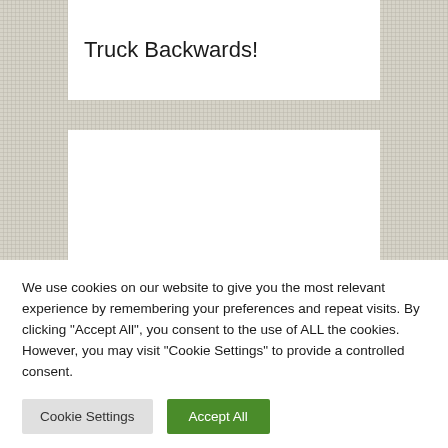Truck Backwards!
[Figure (other): White content card area below title card, empty white rectangle on dotted/crosshatch grey background]
We use cookies on our website to give you the most relevant experience by remembering your preferences and repeat visits. By clicking "Accept All", you consent to the use of ALL the cookies. However, you may visit "Cookie Settings" to provide a controlled consent.
Cookie Settings   Accept All